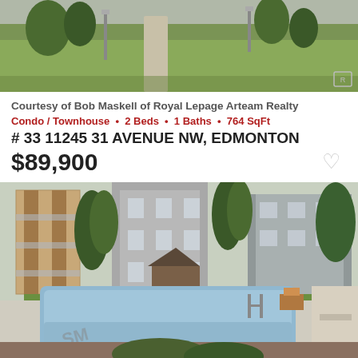[Figure (photo): Outdoor green lawn area with pathway and trees, exterior real estate photo]
Courtesy of Bob Maskell of Royal Lepage Arteam Realty
Condo / Townhouse • 2 Beds • 1 Baths • 764 SqFt
# 33 11245 31 AVENUE NW, EDMONTON
$89,900
[Figure (photo): Condominium complex with outdoor swimming pool, green lawn, and multi-story buildings surrounded by trees]